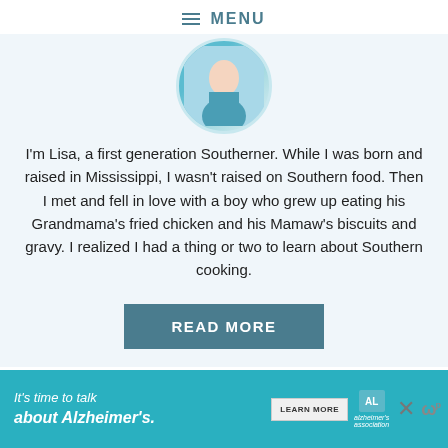≡ MENU
[Figure (photo): Circular profile photo of Lisa, partially cropped at top]
I'm Lisa, a first generation Southerner. While I was born and raised in Mississippi, I wasn't raised on Southern food. Then I met and fell in love with a boy who grew up eating his Grandmama's fried chicken and his Mamaw's biscuits and gravy. I realized I had a thing or two to learn about Southern cooking.
READ MORE
It's time to talk about Alzheimer's. LEARN MORE